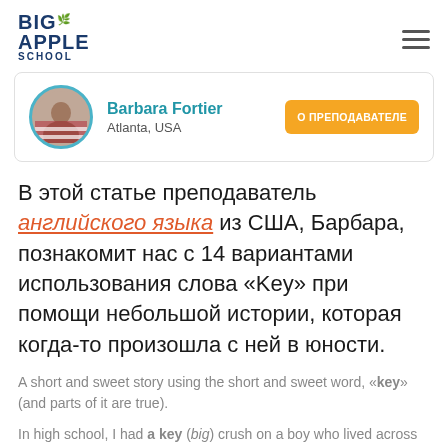BIG APPLE SCHOOL
[Figure (other): Teacher profile card: Barbara Fortier, Atlanta, USA with circular avatar photo and orange button labeled О ПРЕПОДАВАТЕЛЕ]
В этой статье преподаватель английского языка из США, Барбара, познакомит нас с 14 вариантами использования слова «Key» при помощи небольшой истории, которая когда-то произошла с ней в юности.
A short and sweet story using the short and sweet word, «key» (and parts of it are true).
In high school, I had a key (big) crush on a boy who lived across